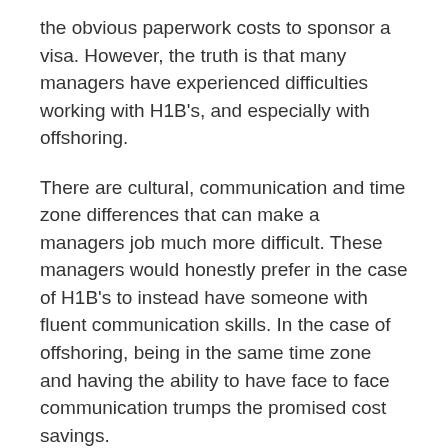the obvious paperwork costs to sponsor a visa. However, the truth is that many managers have experienced difficulties working with H1B's, and especially with offshoring.
There are cultural, communication and time zone differences that can make a managers job much more difficult. These managers would honestly prefer in the case of H1B's to instead have someone with fluent communication skills. In the case of offshoring, being in the same time zone and having the ability to have face to face communication trumps the promised cost savings.
Certainly, there are good cases for H1B's and offshoring, but it depends on factors like the type of project and the skill set of management. And the purpose of H1B's is to fill gaps in local markets, [popup] × in compute [popup] to